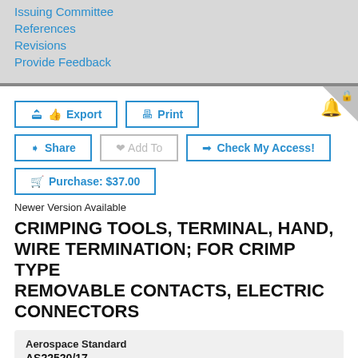Issuing Committee
References
Revisions
Provide Feedback
Export  Print  Share  Add To  Check My Access!  Purchase: $37.00
Newer Version Available
CRIMPING TOOLS, TERMINAL, HAND, WIRE TERMINATION; FOR CRIMP TYPE REMOVABLE CONTACTS, ELECTRIC CONNECTORS
Aerospace Standard
AS22520/17
Reaffirmed